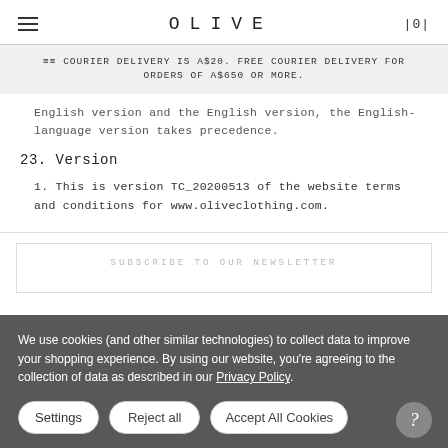OLIVE  |0|
≡≡ COURIER DELIVERY IS A$20. FREE COURIER DELIVERY FOR ORDERS OF A$650 OR MORE.
English version and the English version, the English-language version takes precedence.
23. Version
1. This is version TC_20200513 of the website terms and conditions for www.oliveclothing.com.
SUBSCRIBE TO OUR NEWSLETTER
We use cookies (and other similar technologies) to collect data to improve your shopping experience. By using our website, you're agreeing to the collection of data as described in our Privacy Policy.